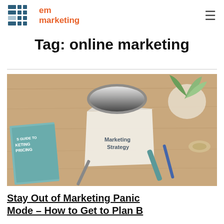em marketing
Tag: online marketing
[Figure (photo): Overhead shot of a desk with a paper reading 'Marketing Strategy', a chrome iron, marketing/pricing books, a plant, pens, and a pencil on a wooden surface.]
Stay Out of Marketing Panic Mode – How to Get to Plan B